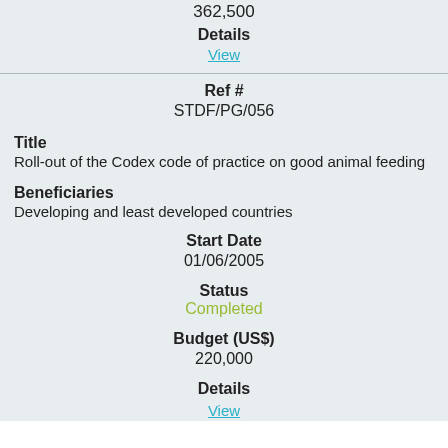362,500
Details
View
Ref #
STDF/PG/056
Title
Roll-out of the Codex code of practice on good animal feeding
Beneficiaries
Developing and least developed countries
Start Date
01/06/2005
Status
Completed
Budget (US$)
220,000
Details
View